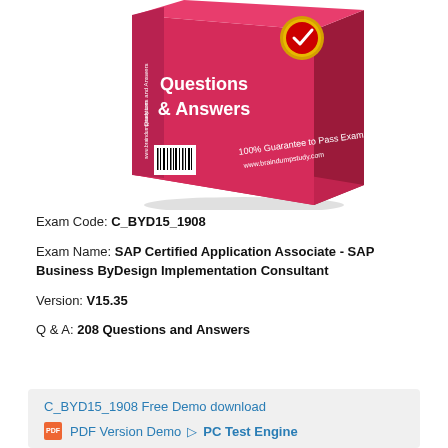[Figure (photo): A pink/red product box labeled 'Questions & Answers' with '100% Guarantee to Pass Exam' and 'www.braindumpstudy.com'. A gold badge with a checkmark is on the top-right corner. The box spine reads 'Questions and Answers www.braindumpstudy.com'. A barcode is visible on the lower-left of the box face.]
Exam Code: C_BYD15_1908
Exam Name: SAP Certified Application Associate - SAP Business ByDesign Implementation Consultant
Version: V15.35
Q & A: 208 Questions and Answers
C_BYD15_1908 Free Demo download
PDF Version Demo   PC Test Engine